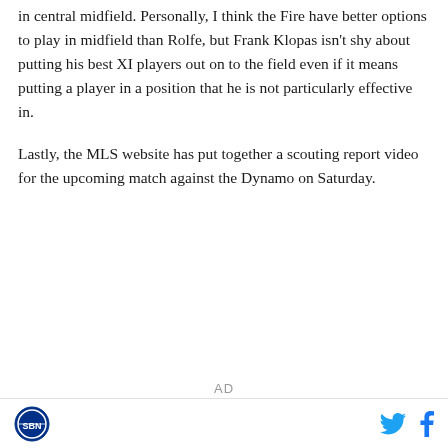in central midfield. Personally, I think the Fire have better options to play in midfield than Rolfe, but Frank Klopas isn't shy about putting his best XI players out on to the field even if it means putting a player in a position that he is not particularly effective in.

Lastly, the MLS website has put together a scouting report video for the upcoming match against the Dynamo on Saturday.
AD